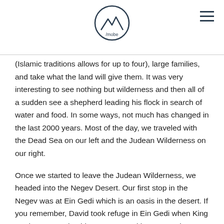mobe logo and navigation
(Islamic traditions allows for up to four), large families, and take what the land will give them.  It was very interesting to see nothing but wilderness and then all of a sudden see a shepherd leading his flock in search of water and food. In some ways, not much has changed in the last 2000 years. Most of the day, we traveled with the Dead Sea on our left and the Judean Wilderness on our right.
Once we started to leave the Judean Wilderness, we headed into the Negev Desert. Our first stop in the Negev was at Ein Gedi which is an oasis in the desert. If you remember, David took refuge in Ein Gedi when King Saul was pursuing him. As you read in 1 Samuel 24, King Saul entered the cave where David was hiding and his men urged David to kill the King but David refused because he respected God and in turn he respected Saul. These hills are unbelievably steep and today you are not allowed to